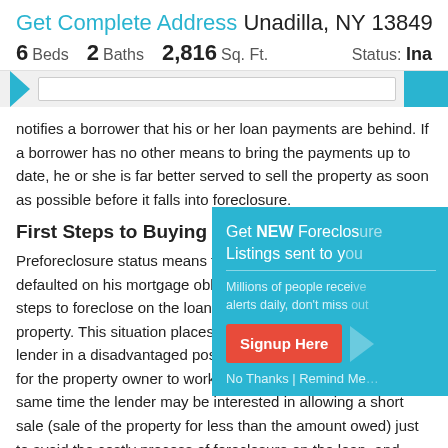Get Complete Address Unadilla, NY 13849
6 Beds  2 Baths  2,816 Sq. Ft.   Status: Ina
notifies a borrower that his or her loan payments are behind. If a borrower has no other means to bring the payments up to date, he or she is far better served to sell the property as soon as possible before it falls into foreclosure.
First Steps to Buying a Preforc
Preforeclosure status means the owner defaulted on his mortgage obligation and steps to foreclose on the loan and take property. This situation places the prope lender in a disadvantaged position. But for the property owner to work things ou same time the lender may be interested in allowing a short sale (sale of the property for less than the amount owed) just to avoid the costly process of foreclosure on the loan, and then
Get NEW Foreclosure Listings sent to you
Millions of people receive alerts daily, don't miss o...
Signup Here
No Thanks | Remind Me